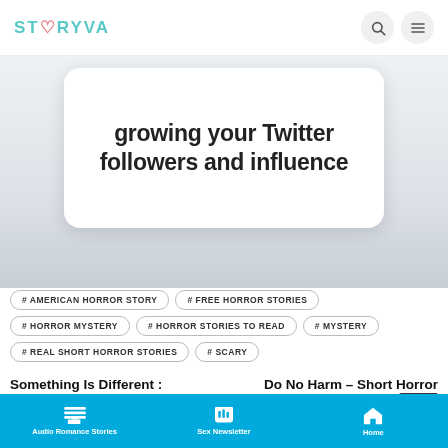STORYVA
growing your Twitter followers and influence
# AMERICAN HORROR STORY
# FREE HORROR STORIES
# HORROR MYSTERY
# HORROR STORIES TO READ
# MYSTERY
# REAL SHORT HORROR STORIES
# SCARY
Something Is Different : Scary
Do No Harm – Short Horror Story
Audio Romance Stories | Sex Newsletter | Home